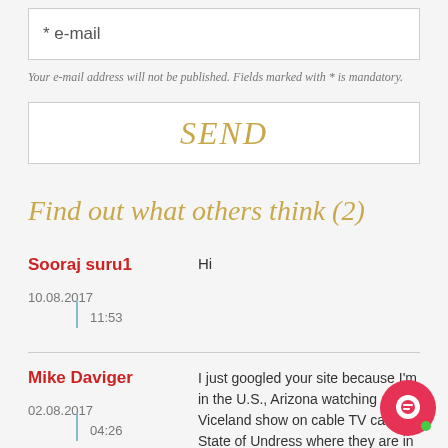* e-mail
Your e-mail address will not be published. Fields marked with * is mandatory.
SEND
Find out what others think (2)
Sooraj suru1
Hi
10.08.2017
11:53
Mike Daviger
I just googled your site because I'm in the U.S., Arizona watching a Viceland show on cable TV called State of Undress where they are in Romania this epis... never knew Romanian women were... beautiful.
02.08.2017
04:26